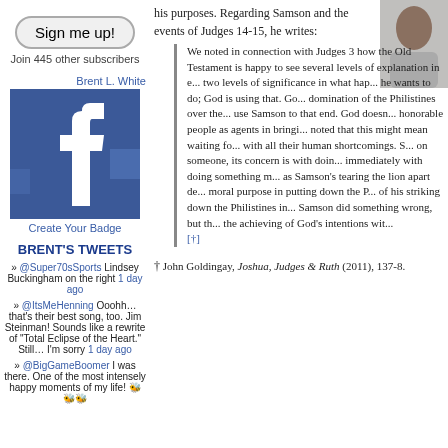Sign me up!
Join 445 other subscribers
Brent L. White
[Figure (photo): Facebook logo badge image]
Create Your Badge
BRENT'S TWEETS
» @Super70sSports Lindsey Buckingham on the right 1 day ago
» @ItsMeHenning Ooohh… that's their best song, too. Jim Steinman! Sounds like a rewrite of "Total Eclipse of the Heart." Still… I'm sorry 1 day ago
» @BigGameBoomer I was there. One of the most intensely happy moments of my life! 🐝🐝🐝
his purposes. Regarding Samson and the events of Judges 14-15, he writes:
We noted in connection with Judges 3 how the Old Testament is happy to see several levels of explanation in e... two levels of significance in what hap... he wants to do; God is using that. Go... domination of the Philistines over the... use Samson to that end. God doesn... honorable people as agents in bringi... noted that this might mean waiting fo... with all their human shortcomings. S... on someone, its concern is with doin... immediately with doing something m... as Samson's tearing the lion apart de... moral purpose in putting down the P... of his striking down the Philistines in... Samson did something wrong, but th... the achieving of God's intentions wit... [†]
† John Goldingay, Joshua, Judges & Ruth (2011), 137-8.